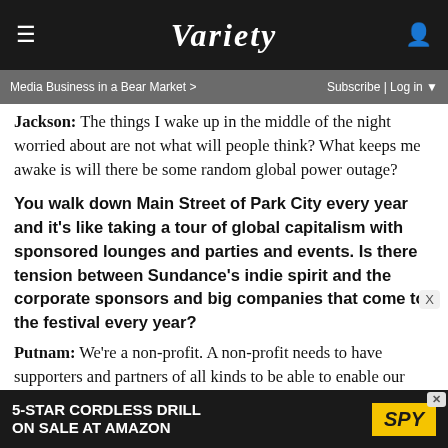VARIETY
Media Business in a Bear Market > | Subscribe | Log in
Jackson: The things I wake up in the middle of the night worried about are not what will people think? What keeps me awake is will there be some random global power outage?
You walk down Main Street of Park City every year and it's like taking a tour of global capitalism with sponsored lounges and parties and events. Is there tension between Sundance's indie spirit and the corporate sponsors and big companies that come to the festival every year?
Putnam: We're a non-profit. A non-profit needs to have supporters and partners of all kinds to be able to enable our work. We're not just a festival. We also have labs and provide millions of dollars of grants to up-and-coming artists that enables them to make their work. As a non-profit there's alwa
[Figure (screenshot): Advertisement for 5-Star Cordless Drill on sale at Amazon, with SPY logo]